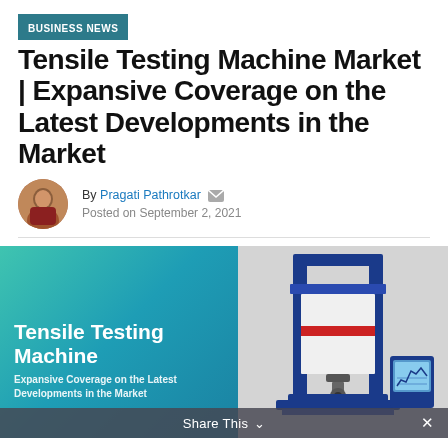BUSINESS NEWS
Tensile Testing Machine Market | Expansive Coverage on the Latest Developments in the Market
By Pragati Pathrotkar  Posted on September 2, 2021
[Figure (photo): Hero image showing a tensile testing machine against a teal gradient background with overlay text 'Tensile Testing Machine — Expansive Coverage on the Latest Developments in the Market']
Share This